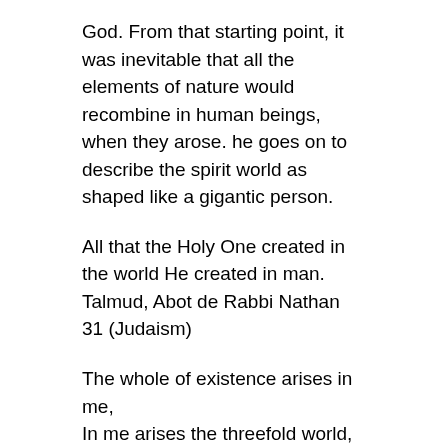God. From that starting point, it was inevitable that all the elements of nature would recombine in human beings, when they arose. he goes on to describe the spirit world as shaped like a gigantic person.
All that the Holy One created in the world He created in man.
Talmud, Abot de Rabbi Nathan 31 (Judaism)
The whole of existence arises in me,
In me arises the threefold world,
By me pervaded is this all,
Of naught else does this world consist.
Hevajra Tantra 8.41 (Buddhism)
The human form is built into the world struc-